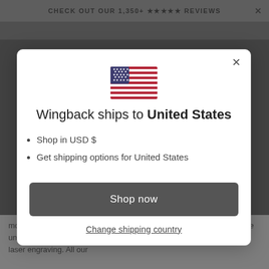CHECK OUT OUR 1,350+ ★★★★★ REVIEWS
[Figure (screenshot): US flag emoji/icon centered in modal]
Wingback ships to United States
Shop in USD $
Get shipping options for United States
Shop now
Change shipping country
model body and vegetable tanned to be kinder on the environment. We unite the hand-crafted quality of saddle stitching with the precision of laser engraving. All our